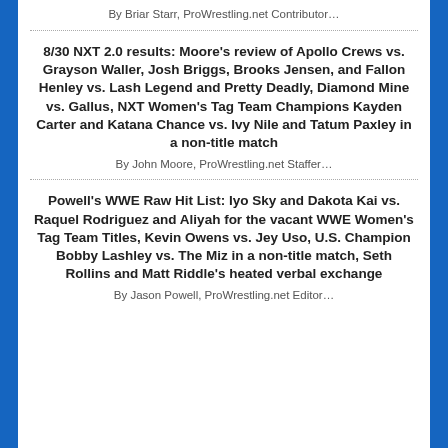By Briar Starr, ProWrestling.net Contributor…
8/30 NXT 2.0 results: Moore's review of Apollo Crews vs. Grayson Waller, Josh Briggs, Brooks Jensen, and Fallon Henley vs. Lash Legend and Pretty Deadly, Diamond Mine vs. Gallus, NXT Women's Tag Team Champions Kayden Carter and Katana Chance vs. Ivy Nile and Tatum Paxley in a non-title match
By John Moore, ProWrestling.net Staffer…
Powell's WWE Raw Hit List: Iyo Sky and Dakota Kai vs. Raquel Rodriguez and Aliyah for the vacant WWE Women's Tag Team Titles, Kevin Owens vs. Jey Uso, U.S. Champion Bobby Lashley vs. The Miz in a non-title match, Seth Rollins and Matt Riddle's heated verbal exchange
By Jason Powell, ProWrestling.net Editor…